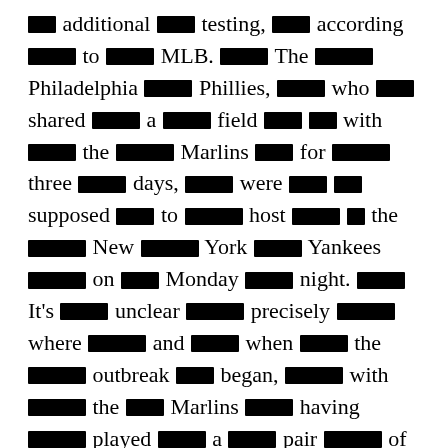[redacted] additional [redacted] testing, [redacted] according [redacted] to [redacted] MLB. [redacted] The [redacted] Philadelphia [redacted] Phillies, [redacted] who [redacted] shared [redacted] a [redacted] field [redacted] with [redacted] the [redacted] Marlins [redacted] for [redacted] three [redacted] days, [redacted] were [redacted] supposed [redacted] to [redacted] host [redacted] the [redacted] New [redacted] York [redacted] Yankees [redacted] on [redacted] Monday [redacted] night. [redacted] It's [redacted] unclear [redacted] precisely [redacted] where [redacted] and [redacted] when [redacted] the [redacted] outbreak [redacted] began, [redacted] with [redacted] the [redacted] Marlins [redacted] having [redacted] played [redacted] a [redacted] pair [redacted] of [redacted] exhibition [redacted] games [redacted] in [redacted] Atlanta [redacted] but [redacted] Tuesday [redacted] and [redacted]